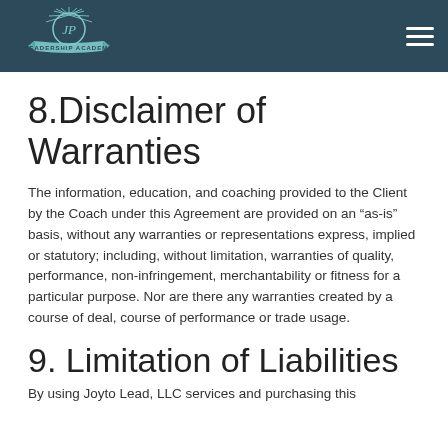JP Leadership Academy
8. Disclaimer of Warranties
The information, education, and coaching provided to the Client by the Coach under this Agreement are provided on an “as-is” basis, without any warranties or representations express, implied or statutory; including, without limitation, warranties of quality, performance, non-infringement, merchantability or fitness for a particular purpose. Nor are there any warranties created by a course of deal, course of performance or trade usage.
9. Limitation of Liabilities
By using Joyto Lead, LLC services and purchasing this